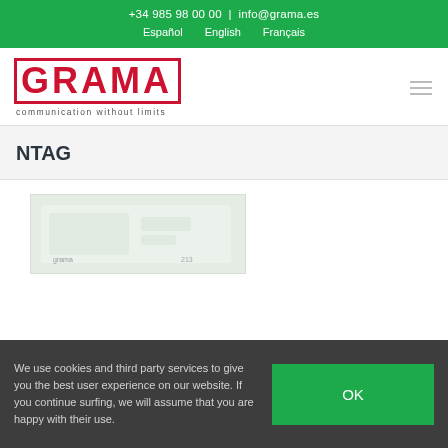+34 985 98 00 00  |  info@grama.es
Español  English  Français
[Figure (logo): GRAMA logo in red block letters with tagline 'communication without limits']
NTAG
[Figure (photo): Product image thumbnail showing an NTAG card/label, light green background]
We use cookies and third party services to give you the best user experience on our website. If you continue surfing, we will assume that you are happy with their use.